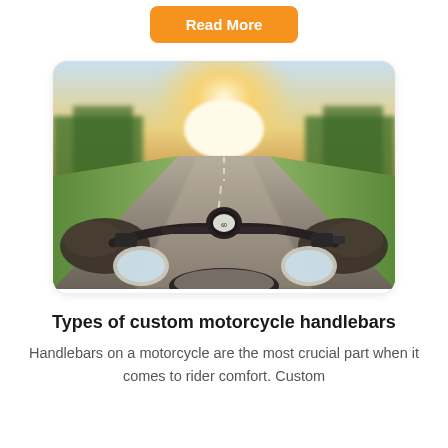Read More
[Figure (photo): First-person perspective view from a motorcycle rider on an open road, showing handlebars, mirrors, speedometer, and gloved hands gripping the bars. The road stretches ahead toward a glowing sunset between trees, with green fields on either side.]
Types of custom motorcycle handlebars
Handlebars on a motorcycle are the most crucial part when it comes to rider comfort. Custom